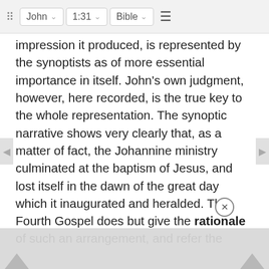⠿  John ∨  1:31 ∨  Bible ∨  ≡
impression it produced, is represented by the synoptists as of more essential importance in itself. John's own judgment, however, here recorded, is the true key to the whole representation. The synoptic narrative shows very clearly that, as a matter of fact, the Johannine ministry culminated at the baptism of Jesus, and lost itself in the dawn of the great day which it inaugurated and heralded. The Fourth Gospel does but give the rationale of such an arrangement, and refer the origin of the idea to John himself. If John did not intensify the sense of sin which Messiah was to soothe and take away; if John did not, by baptism with water, excite a desire for an infinitely nobler and more precious baptism; if John did not prepare a way for On⊗ of vastly                                                          dom of Go                                                       ure.